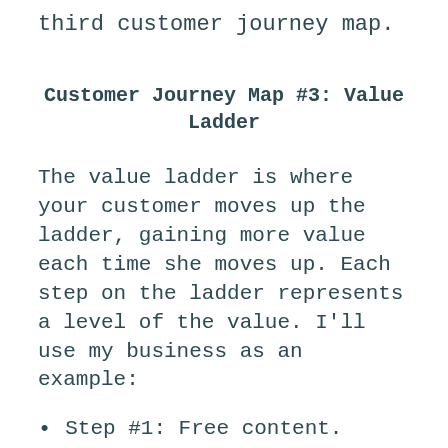third customer journey map.
Customer Journey Map #3: Value Ladder
The value ladder is where your customer moves up the ladder, gaining more value each time she moves up. Each step on the ladder represents a level of the value. I'll use my business as an example:
Step #1: Free content. (podcast, social media, blog)